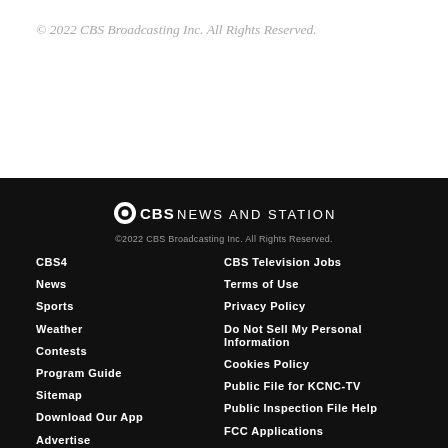© 2022 CBS Broadcasting Inc. All Rights Reserved.
[Figure (logo): CBS News and Stations logo with CBS eye icon]
©2022 CBS Broadcasting Inc. All Rights Reserved.
CBS4
CBS Television Jobs
News
Terms of Use
Sports
Privacy Policy
Weather
Do Not Sell My Personal Information
Contests
Cookies Policy
Program Guide
Public File for KCNC-TV
Sitemap
Public Inspection File Help
Download Our App
FCC Applications
Advertise
EEO Report